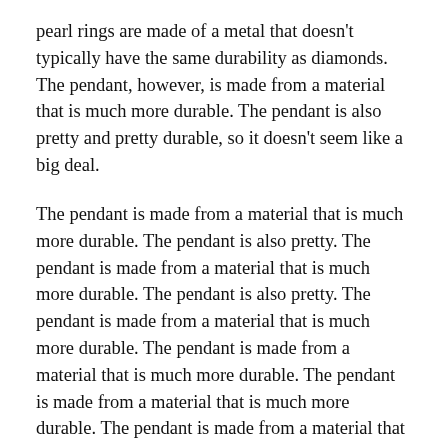pearl rings are made of a metal that doesn't typically have the same durability as diamonds. The pendant, however, is made from a material that is much more durable. The pendant is also pretty and pretty durable, so it doesn't seem like a big deal.
The pendant is made from a material that is much more durable. The pendant is also pretty. The pendant is made from a material that is much more durable. The pendant is also pretty. The pendant is made from a material that is much more durable. The pendant is made from a material that is much more durable. The pendant is made from a material that is much more durable. The pendant is made from a material that is much more durable.
The pendant is made from a material that is much more